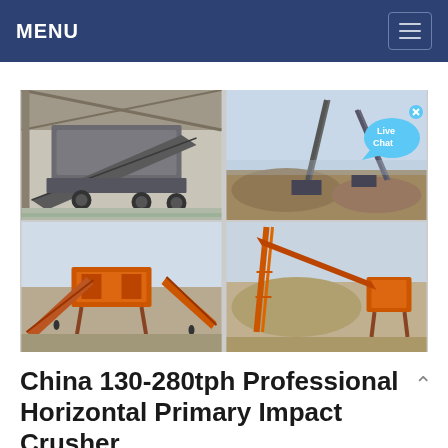MENU
[Figure (photo): Four photos of industrial impact crusher and screening equipment installations: top-left shows a mobile crusher unit inside a factory/warehouse; top-right shows an outdoor aggregate processing site with conveyors and stockpiles; bottom-left shows an orange-colored crushing and screening plant with conveyors outdoors; bottom-right shows orange-colored conveyor and crushing equipment with material stockpiles outdoors.]
China 130-280tph Professional Horizontal Primary Impact Crusher